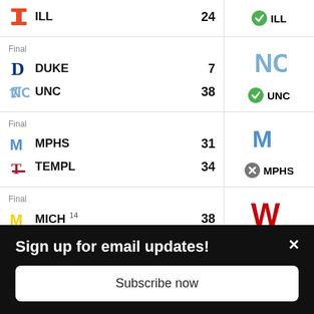| Team | Score | Pick |
| --- | --- | --- |
| ILL | 24 | ✓ ILL |
| DUKE | 7 |  |
| UNC | 38 | ✓ UNC |
| MPHS | 31 |  |
| TEMPL | 34 | ✗ MPHS |
| MICH 14 | 38 |  |
| WIS | 17 | ✗ WIS |
Sign up for email updates!
Subscribe now